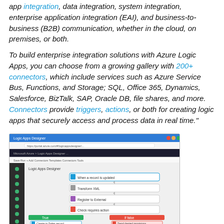app integration, data integration, system integration, enterprise application integration (EAI), and business-to-business (B2B) communication, whether in the cloud, on premises, or both.
To build enterprise integration solutions with Azure Logic Apps, you can choose from a growing gallery with 200+ connectors, which include services such as Azure Service Bus, Functions, and Storage; SQL, Office 365, Dynamics, Salesforce, BizTalk, SAP, Oracle DB, file shares, and more. Connectors provide triggers, actions, or both for creating logic apps that securely access and process data in real time."
[Figure (screenshot): Screenshot of the Azure Logic Apps Designer interface in a browser window, showing a workflow with steps including conditions (true/false branches), actions, and a Send Email step at the bottom.]
"Every logic app workflow starts with a trigger, which fires